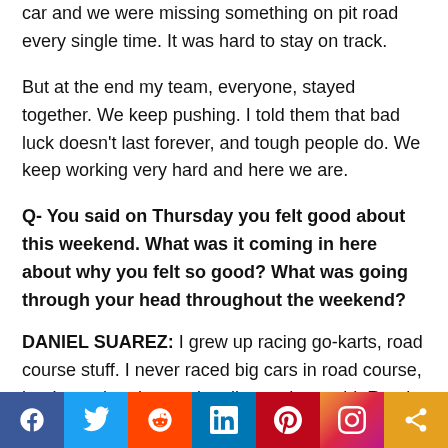car and we were missing something on pit road every single time. It was hard to stay on track.
But at the end my team, everyone, stayed together. We keep pushing. I told them that bad luck doesn't last forever, and tough people do. We keep working very hard and here we are.
Q- You said on Thursday you felt good about this weekend. What was it coming in here about why you felt so good? What was going through your head throughout the weekend?
DANIEL SUAREZ: I grew up racing go-karts, road course stuff. I never raced big cars in road course, but I raced go-karts a lot all over the world. Road